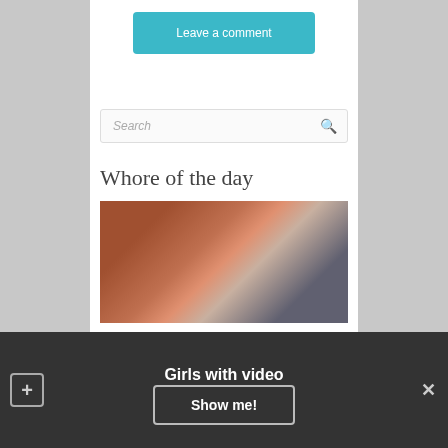Leave a comment
Search
Whore of the day
[Figure (photo): Woman posing in a studio/industrial setting]
Girls with video
Show me!